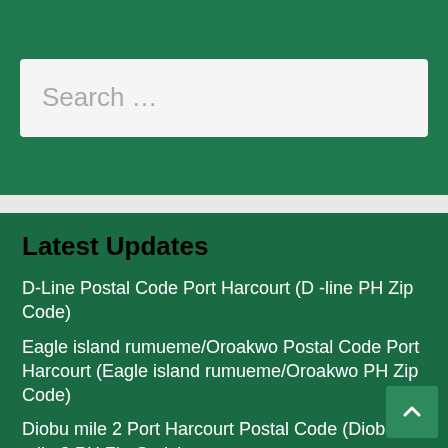[Figure (other): Search input box with placeholder text 'Search ...' on a dark green background]
Latest Updates
D-Line Postal Code Port Harcourt (D -line PH Zip Code)
Eagle island rumueme/Oroakwo Postal Code Port Harcourt (Eagle island rumueme/Oroakwo PH Zip Code)
Diobu mile 2 Port Harcourt Postal Code (Diobu mile 2 PH Zip Code)
Old G.R.A Port Harcourt Postal Code (Old G.R.A PH Zip Code)